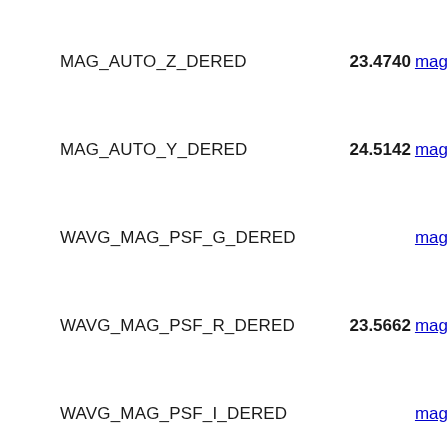MAG_AUTO_Z_DERED    23.4740 mag
MAG_AUTO_Y_DERED    24.5142 mag
WAVG_MAG_PSF_G_DERED    mag
WAVG_MAG_PSF_R_DERED    23.5662 mag
WAVG_MAG_PSF_I_DERED    mag